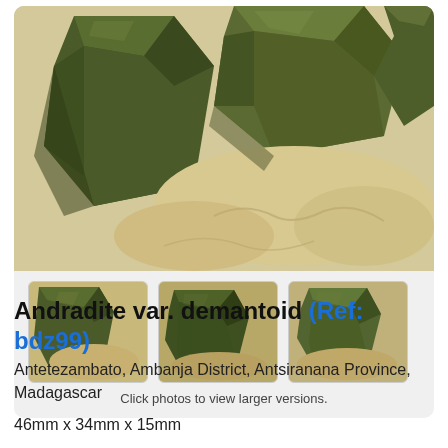[Figure (photo): Main large photo of andradite var. demantoid mineral specimen — dark olive-green crystal clusters on cream/beige matrix rock, closeup showing faceted crystal faces]
[Figure (photo): Thumbnail 1: small andradite demantoid cluster on matrix, similar dark green crystals on beige rock]
[Figure (photo): Thumbnail 2: small andradite demantoid cluster, darker view]
[Figure (photo): Thumbnail 3: small andradite demantoid cluster, slightly lighter view]
Click photos to view larger versions.
Andradite var. demantoid (Ref: bdz99)
Antetezambato, Ambanja District, Antsiranana Province, Madagascar
46mm x 34mm x 15mm